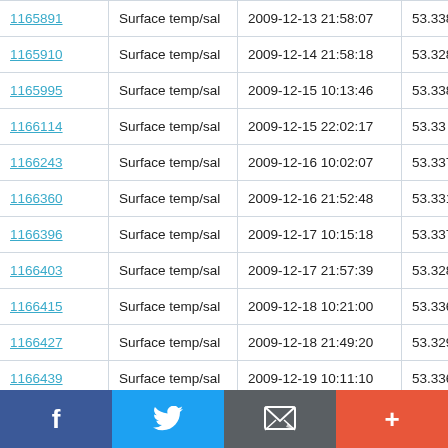| ID | Type | Datetime | Value |
| --- | --- | --- | --- |
| 1165891 | Surface temp/sal | 2009-12-13 21:58:07 | 53.338 ... |
| 1165910 | Surface temp/sal | 2009-12-14 21:58:18 | 53.328 ... |
| 1165995 | Surface temp/sal | 2009-12-15 10:13:46 | 53.338 ... |
| 1166114 | Surface temp/sal | 2009-12-15 22:02:17 | 53.33 N... |
| 1166243 | Surface temp/sal | 2009-12-16 10:02:07 | 53.337 ... |
| 1166360 | Surface temp/sal | 2009-12-16 21:52:48 | 53.331 N... |
| 1166396 | Surface temp/sal | 2009-12-17 10:15:18 | 53.337 ... |
| 1166403 | Surface temp/sal | 2009-12-17 21:57:39 | 53.328 ... |
| 1166415 | Surface temp/sal | 2009-12-18 10:21:00 | 53.336 ... |
| 1166427 | Surface temp/sal | 2009-12-18 21:49:20 | 53.329 ... |
| 1166439 | Surface temp/sal | 2009-12-19 10:11:10 | 53.336 ... |
f  Twitter  Email  +